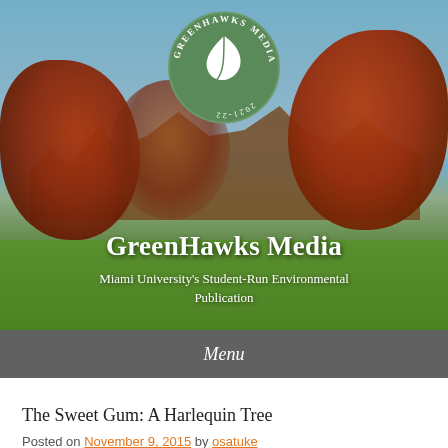[Figure (photo): Hero image of a college campus (Miami University) with red/orange autumn trees, green lawn, red brick buildings, and blue sky. GreenHawks Media circular logo centered at top of image.]
GreenHawks Media
Miami University's Student-Run Environmental Publication
Menu
The Sweet Gum: A Harlequin Tree
Posted on November 9, 2015 by osatuke